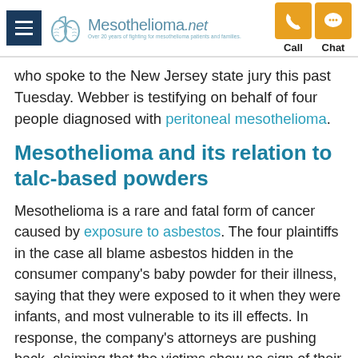Mesothelioma.net — Call | Chat navigation header
who spoke to the New Jersey state jury this past Tuesday. Webber is testifying on behalf of four people diagnosed with peritoneal mesothelioma.
Mesothelioma and its relation to talc-based powders
Mesothelioma is a rare and fatal form of cancer caused by exposure to asbestos. The four plaintiffs in the case all blame asbestos hidden in the consumer company's baby powder for their illness, saying that they were exposed to it when they were infants, and most vulnerable to its ill effects. In response, the company's attorneys are pushing back, claiming that the victims show no sign of their illness being caused